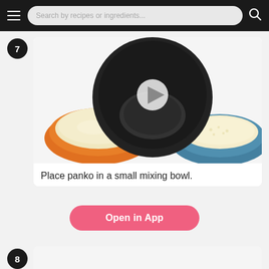Search by recipes or ingredients...
7
[Figure (photo): Top-down view of three bowls: an orange bowl with flour on the left, a black bowl in the center (empty, with a video play button overlay), and a blue bowl with panko breadcrumbs on the right, on a white surface.]
Place panko in a small mixing bowl.
Open in App
8